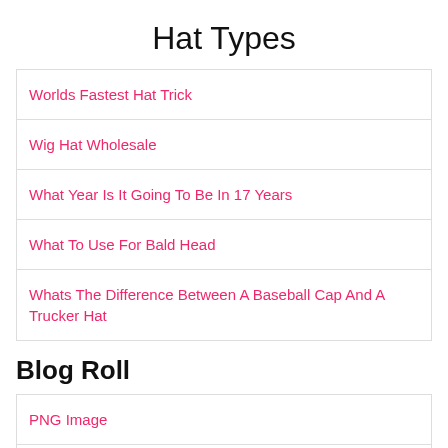Hat Types
Worlds Fastest Hat Trick
Wig Hat Wholesale
What Year Is It Going To Be In 17 Years
What To Use For Bald Head
Whats The Difference Between A Baseball Cap And A Trucker Hat
Blog Roll
PNG Image
Avatar The Last Airbender Wallpaper
PNG Image Online
Anime Wallpapers For Iphone